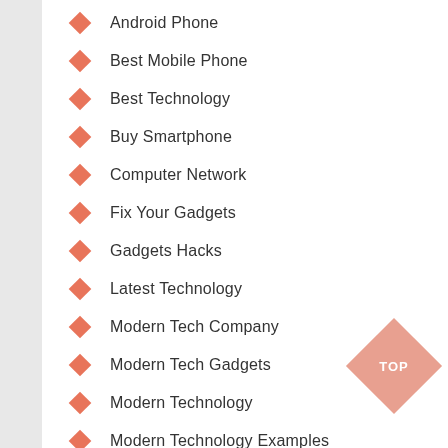Android Phone
Best Mobile Phone
Best Technology
Buy Smartphone
Computer Network
Fix Your Gadgets
Gadgets Hacks
Latest Technology
Modern Tech Company
Modern Tech Gadgets
Modern Technology
Modern Technology Examples
New Technology